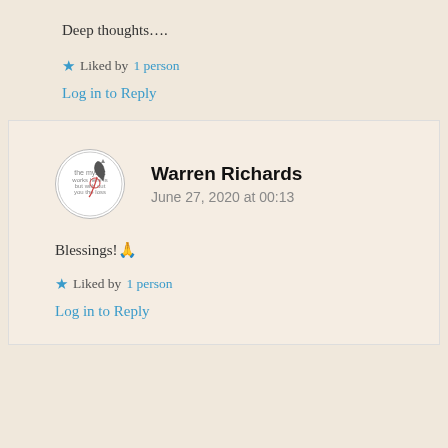Deep thoughts….
★ Liked by 1 person
Log in to Reply
Warren Richards
June 27, 2020 at 00:13
Blessings!🙏
★ Liked by 1 person
Log in to Reply